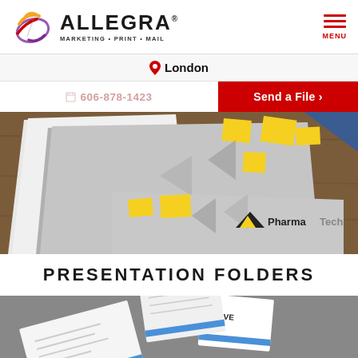[Figure (logo): Allegra Marketing Print Mail logo with stylized A icon]
MENU
London
606-878-1423
Send a File ›
[Figure (photo): Presentation folders with PharmaTech branding, grey and yellow geometric design, on wooden surface]
PRESENTATION FOLDERS
[Figure (photo): Close-up of printed materials including business cards and brochures with Dave Co. branding and blue accents]